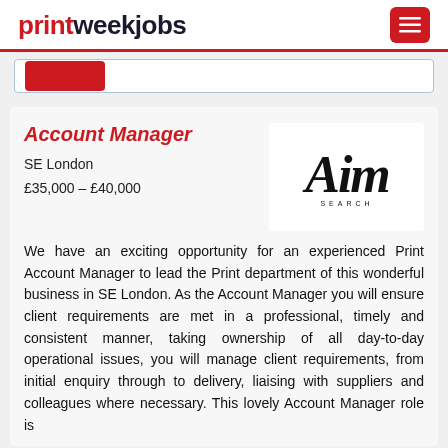printweekjobs
Account Manager
SE London
£35,000 – £40,000
[Figure (logo): Aim Search company logo in italic script font]
We have an exciting opportunity for an experienced Print Account Manager to lead the Print department of this wonderful business in SE London. As the Account Manager you will ensure client requirements are met in a professional, timely and consistent manner, taking ownership of all day-to-day operational issues, you will manage client requirements, from initial enquiry through to delivery, liaising with suppliers and colleagues where necessary. This lovely Account Manager role is